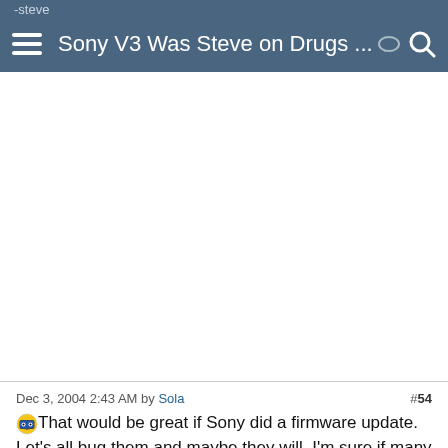Sony V3 Was Steve on Drugs ...
[Figure (other): Advertisement/empty white space area]
Dec 3, 2004 2:43 AM by Sola  #54
😎That would be great if Sony did a firmware update. Let's all bug them and maybe they will. I'm sure if many many people complained they'd do it. When I get my V3 (which I almost got today.. long story:sad😞 if I notice that tho